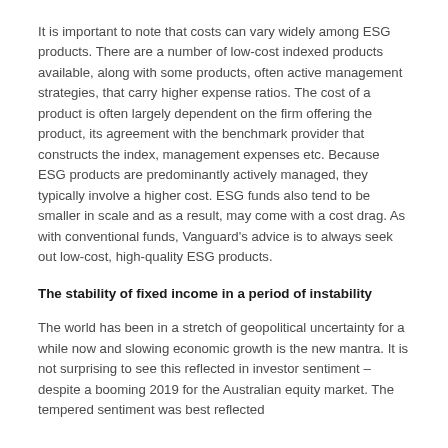It is important to note that costs can vary widely among ESG products. There are a number of low-cost indexed products available, along with some products, often active management strategies, that carry higher expense ratios. The cost of a product is often largely dependent on the firm offering the product, its agreement with the benchmark provider that constructs the index, management expenses etc. Because ESG products are predominantly actively managed, they typically involve a higher cost. ESG funds also tend to be smaller in scale and as a result, may come with a cost drag. As with conventional funds, Vanguard's advice is to always seek out low-cost, high-quality ESG products.
The stability of fixed income in a period of instability
The world has been in a stretch of geopolitical uncertainty for a while now and slowing economic growth is the new mantra. It is not surprising to see this reflected in investor sentiment – despite a booming 2019 for the Australian equity market. The tempered sentiment was best reflected